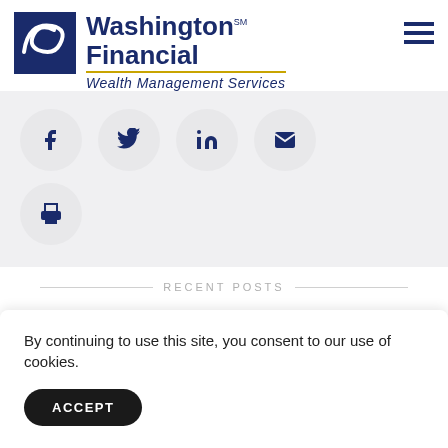[Figure (logo): Washington Financial Wealth Management Services logo with swirl graphic and hamburger menu icon]
[Figure (infographic): Social sharing icons: Facebook, Twitter, LinkedIn, Email, and Print in circular buttons on gray background]
RECENT POSTS
By continuing to use this site, you consent to our use of cookies.